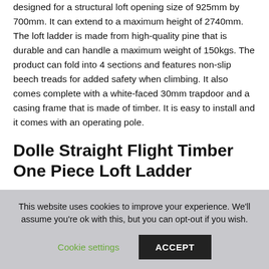designed for a structural loft opening size of 925mm by 700mm. It can extend to a maximum height of 2740mm. The loft ladder is made from high-quality pine that is durable and can handle a maximum weight of 150kgs. The product can fold into 4 sections and features non-slip beech treads for added safety when climbing. It also comes complete with a white-faced 30mm trapdoor and a casing frame that is made of timber. It is easy to install and it comes with an operating pole.
Dolle Straight Flight Timber One Piece Loft Ladder
[Figure (photo): Partial view of a timber loft ladder product image, showing top portion of the ladder at an angle against white background.]
This website uses cookies to improve your experience. We'll assume you're ok with this, but you can opt-out if you wish.